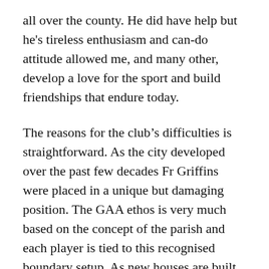all over the county. He did have help but he's tireless enthusiasm and can-do attitude allowed me, and many other, develop a love for the sport and build friendships that endure today.
The reasons for the club's difficulties is straightforward. As the city developed over the past few decades Fr Griffins were placed in a unique but damaging position. The GAA ethos is very much based on the concept of the parish and each player is tied to this recognised boundary setup. As new houses are built within a parish, potential players, officials and supporters manifest themselves. However, in the case of Fr Griffins the natural catchments